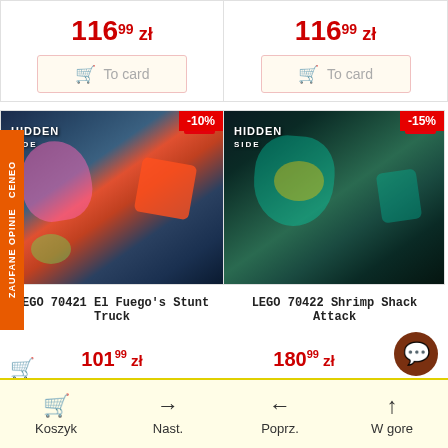116⁹⁹ zł
To card
116⁹⁹ zł
To card
-10%
[Figure (photo): LEGO Hidden Side 70421 El Fuego's Stunt Truck product box with colorful ghost/action artwork]
-15%
[Figure (photo): LEGO Hidden Side 70422 Shrimp Shack Attack product box with teal ghost/creature artwork]
LEGO 70421 El Fuego's Stunt Truck
LEGO 70422 Shrimp Shack Attack
101⁹⁹ zł
180⁹⁹ zł
ZAUFANE OPINIE CENEO
Koszyk
Nast.
Poprz.
W gore